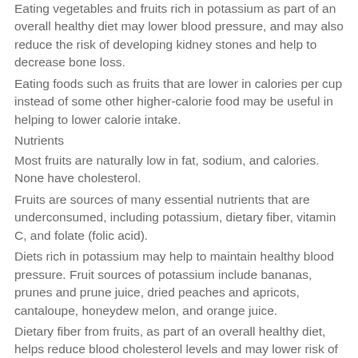Eating vegetables and fruits rich in potassium as part of an overall healthy diet may lower blood pressure, and may also reduce the risk of developing kidney stones and help to decrease bone loss.
Eating foods such as fruits that are lower in calories per cup instead of some other higher-calorie food may be useful in helping to lower calorie intake.
Nutrients
Most fruits are naturally low in fat, sodium, and calories. None have cholesterol.
Fruits are sources of many essential nutrients that are underconsumed, including potassium, dietary fiber, vitamin C, and folate (folic acid).
Diets rich in potassium may help to maintain healthy blood pressure. Fruit sources of potassium include bananas, prunes and prune juice, dried peaches and apricots, cantaloupe, honeydew melon, and orange juice.
Dietary fiber from fruits, as part of an overall healthy diet, helps reduce blood cholesterol levels and may lower risk of heart disease. Fiber is important for proper bowel function. It helps